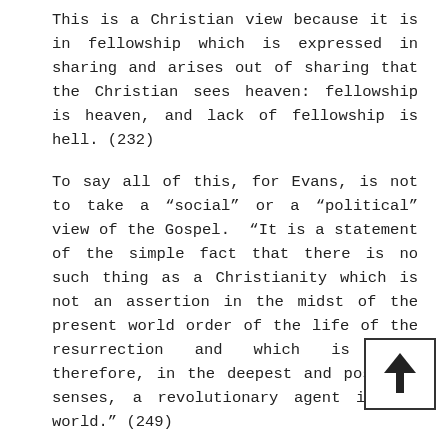This is a Christian view because it is in fellowship which is expressed in sharing and arises out of sharing that the Christian sees heaven: fellowship is heaven, and lack of fellowship is hell. (232)
To say all of this, for Evans, is not to take a "social" or a "political" view of the Gospel.  "It is a statement of the simple fact that there is no such thing as a Christianity which is not an assertion in the midst of the present world order of the life of the resurrection and which is not, therefore, in the deepest and possible senses, a revolutionary agent in the world." (249)
[Figure (other): Navigation button with upward arrow]